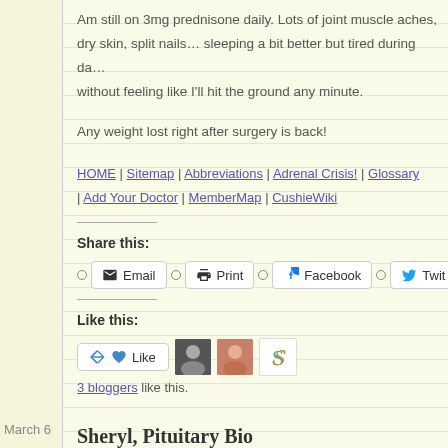Am still on 3mg prednisone daily. Lots of joint muscle aches, dry skin, split nails… sleeping a bit better but tired during da... without feeling like I'll hit the ground any minute.
Any weight lost right after surgery is back!
HOME | Sitemap | Abbreviations | Adrenal Crisis! | Glossary | Add Your Doctor | MemberMap | CushieWiki
Share this:
Email  Print  Facebook  Twit...
Like this:
Like
3 bloggers like this.
Sheryl, Pituitary Bio